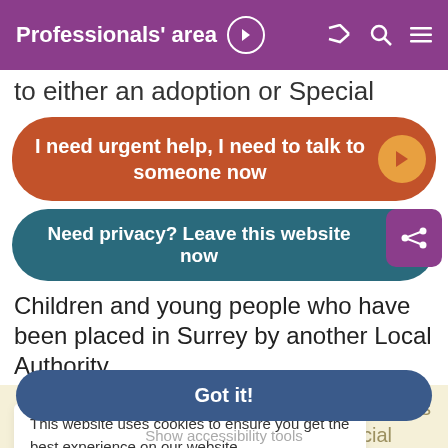Professionals' area
to either an adoption or Special
I need urgent help, I need to talk to someone now
Need privacy? Leave this website now
Children and young people who have been placed in Surrey by another Local Authority
or an adoption agency can access our services after three years of the adoption or Special Guardianship Order having been issued. We also offer support and guidance to adoptive parent(s) and special guardians network
This website uses cookies to ensure you get the best experience on our website.
Learn more
Got it!
Show accessibility tools